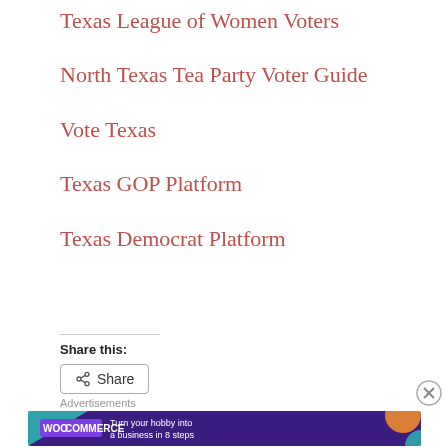Texas League of Women Voters
North Texas Tea Party Voter Guide
Vote Texas
Texas GOP Platform
Texas Democrat Platform
Share this:
Share
Advertisements
[Figure (other): WooCommerce advertisement banner: 'Turn your hobby into a business in 8 steps' with close button]